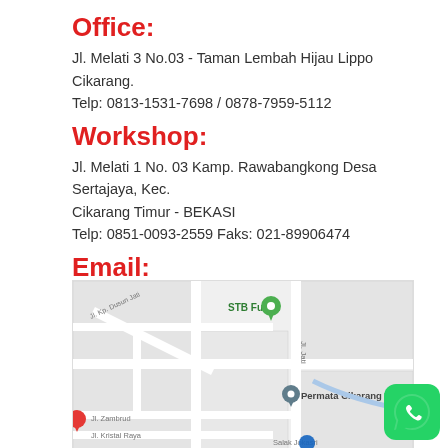Office:
Jl. Melati 3 No.03 - Taman Lembah Hijau Lippo Cikarang.
Telp: 0813-1531-7698 / 0878-7959-5112
Workshop:
Jl. Melati 1 No. 03 Kamp. Rawabangkong Desa Sertajaya, Kec. Cikarang Timur - BEKASI
Telp: 0851-0093-2559 Faks: 021-89906474
Email:
iswandi.eng_74@yahoo.co.id
iswandi@sahlengineering.com
[Figure (map): Google Maps showing location near STB Futsal and Permata Cikarang Timur, with streets Jl. Kp. Dusun Jati, Jl. Jati, Jl. Zambrud, Jl. Kristal Raya, and Salak Jokasri visible.]
[Figure (logo): WhatsApp icon - green rounded square with white phone/chat bubble logo]